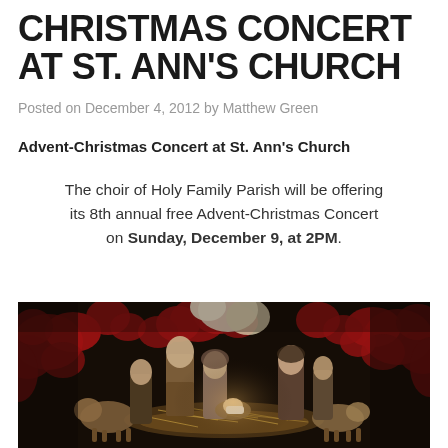CHRISTMAS CONCERT AT ST. ANN'S CHURCH
Posted on December 4, 2012 by Matthew Green
Advent-Christmas Concert at St. Ann's Church
The choir of Holy Family Parish will be offering its 8th annual free Advent-Christmas Concert on Sunday, December 9, at 2PM.
[Figure (photo): Nativity scene with carved figurines of Mary, Joseph, baby Jesus, animals, and wise men surrounded by red and white poinsettia flowers]